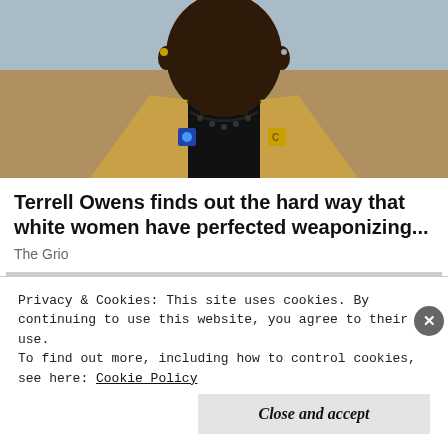[Figure (photo): Close-up photo of a Black man wearing a gold/tan blazer with a black shirt and dark beaded necklace, with a small blue pin and gold logo pin on the lapels. Background is blurred stadium/arena colors.]
Terrell Owens finds out the hard way that white women have perfected weaponizing...
The Grio
[Figure (photo): Partially visible second article image, mostly grey/obscured.]
Privacy & Cookies: This site uses cookies. By continuing to use this website, you agree to their use.
To find out more, including how to control cookies, see here: Cookie Policy
Close and accept